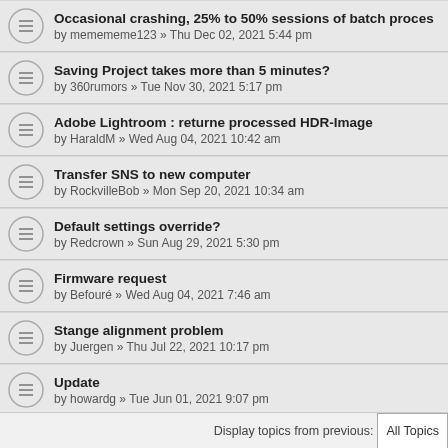Occasional crashing, 25% to 50% sessions of batch proces - by memememe123 » Thu Dec 02, 2021 5:44 pm
Saving Project takes more than 5 minutes? - by 360rumors » Tue Nov 30, 2021 5:17 pm
Adobe Lightroom : returne processed HDR-Image - by HaraldM » Wed Aug 04, 2021 10:42 am
Transfer SNS to new computer - by RockvilleBob » Mon Sep 20, 2021 10:34 am
Default settings override? - by Redcrown » Sun Aug 29, 2021 5:30 pm
Firmware request - by Befouré » Wed Aug 04, 2021 7:46 am
Stange alignment problem - by Juergen » Thu Jul 22, 2021 10:17 pm
Update - by howardg » Tue Jun 01, 2021 9:07 pm
Watermark cyopyright - by capricorn » Fri Jun 18, 2021 5:39 pm
Purchased- get no serial number or download link - by burgor57 » Tue May 25, 2021 7:09 pm
Display topics from previous: All Topics